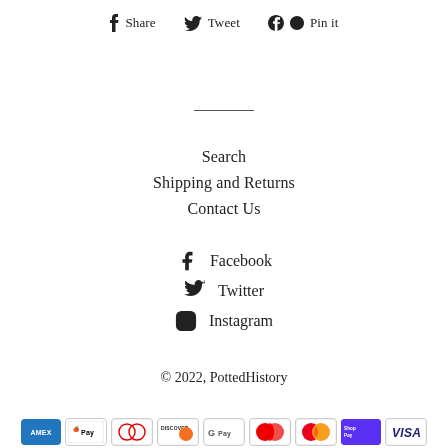f Share   Tweet   Pin it
Search
Shipping and Returns
Contact Us
Facebook
Twitter
Instagram
© 2022, PottedHistory
[Figure (other): Payment method icons: American Express, Apple Pay, Diners Club, Discover, Google Pay, Maestro, Mastercard, ShopifyPay, Visa]